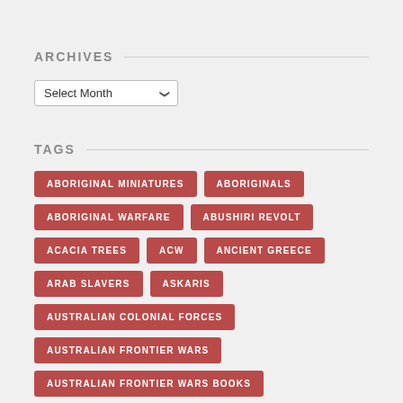ARCHIVES
Select Month
TAGS
ABORIGINAL MINIATURES
ABORIGINALS
ABORIGINAL WARFARE
ABUSHIRI REVOLT
ACACIA TREES
ACW
ANCIENT GREECE
ARAB SLAVERS
ASKARIS
AUSTRALIAN COLONIAL FORCES
AUSTRALIAN FRONTIER WARS
AUSTRALIAN FRONTIER WARS BOOKS